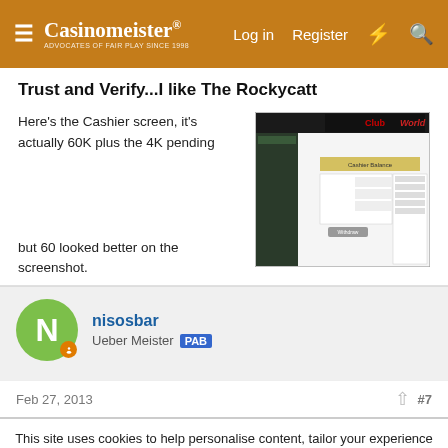Casinomeister® — Advocates of Fair Play since 1998 | Log in | Register
Trust and Verify...I like The Rockycatt
Here's the Cashier screen, it's actually 60K plus the 4K pending but 60 looked better on the screenshot.
[Figure (screenshot): Club World casino cashier screen screenshot showing account balance with pending withdrawal]
nisosbar
Ueber Meister PAB
Feb 27, 2013  #7
This site uses cookies to help personalise content, tailor your experience and to keep you logged in if you register.
By continuing to use this site, you are consenting to our use of cookies.